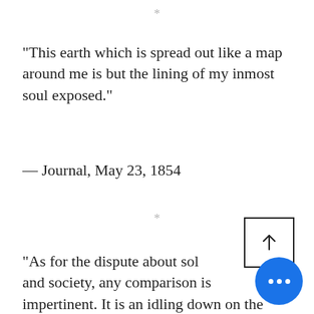*
"This earth which is spread out like a map around me is but the lining of my inmost soul exposed."
— Journal, May 23, 1854
*
"As for the dispute about solitude and society, any comparison is impertinent. It is an idling down on the